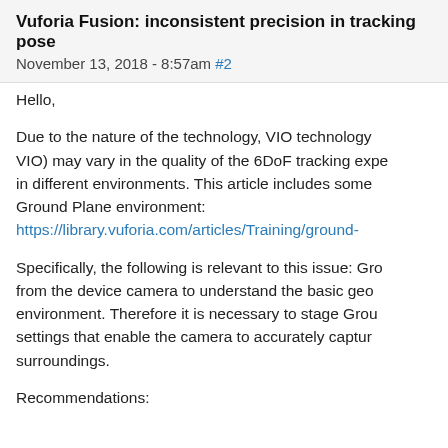Vuforia Fusion: inconsistent precision in tracking pose
November 13, 2018 - 8:57am #2
Hello,
Due to the nature of the technology, VIO technology (VIO) may vary in the quality of the 6DoF tracking experience in different environments. This article includes some Ground Plane environment: https://library.vuforia.com/articles/Training/ground-
Specifically, the following is relevant to this issue: Ground Plane uses data from the device camera to understand the basic geometry of the environment. Therefore it is necessary to stage Ground Plane in settings that enable the camera to accurately capture the surroundings.
Recommendations: